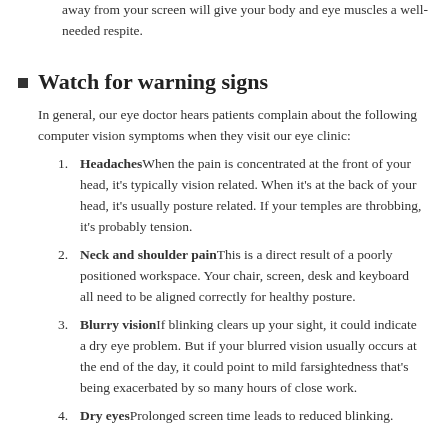away from your screen will give your body and eye muscles a well-needed respite.
Watch for warning signs
In general, our eye doctor hears patients complain about the following computer vision symptoms when they visit our eye clinic:
1. Headaches When the pain is concentrated at the front of your head, it's typically vision related. When it's at the back of your head, it's usually posture related. If your temples are throbbing, it's probably tension.
2. Neck and shoulder pain This is a direct result of a poorly positioned workspace. Your chair, screen, desk and keyboard all need to be aligned correctly for healthy posture.
3. Blurry vision If blinking clears up your sight, it could indicate a dry eye problem. But if your blurred vision usually occurs at the end of the day, it could point to mild farsightedness that's being exacerbated by so many hours of close work.
4. Dry eyes Prolonged screen time leads to reduced blinking.